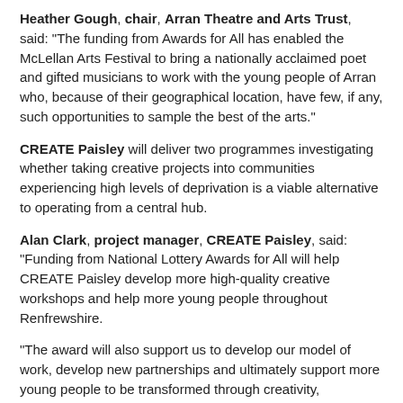Heather Gough, chair, Arran Theatre and Arts Trust, said: “The funding from Awards for All has enabled the McLellan Arts Festival to bring a nationally acclaimed poet and gifted musicians to work with the young people of Arran who, because of their geographical location, have few, if any, such opportunities to sample the best of the arts.”
CREATE Paisley will deliver two programmes investigating whether taking creative projects into communities experiencing high levels of deprivation is a viable alternative to operating from a central hub.
Alan Clark, project manager, CREATE Paisley, said: “Funding from National Lottery Awards for All will help CREATE Paisley develop more high-quality creative workshops and help more young people throughout Renfrewshire.
“The award will also support us to develop our model of work, develop new partnerships and ultimately support more young people to be transformed through creativity, community, confidence and finding their voice.”
Aeriel CIC will deliver music workshops for adults with diverse and complex needs in hard-to-reach communities in rural areas of Dumfries & Galloway.